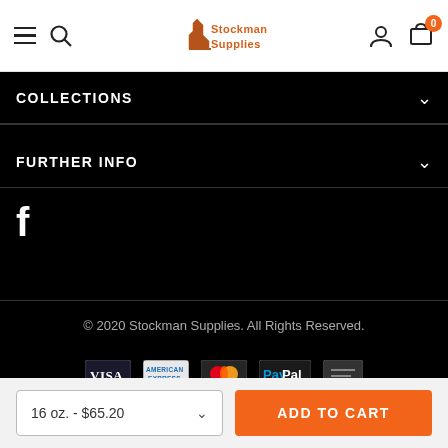Stockman Supplies navigation bar with hamburger menu, search, logo, user icon, and cart (0)
COLLECTIONS
FURTHER INFO
[Figure (logo): Facebook 'f' icon in white on black background]
© 2020 Stockman Supplies. All Rights Reserved.
[Figure (other): Payment method icons: Visa, American Express, Mastercard, PayPal, and one more]
16 oz. - $65.20
ADD TO CART